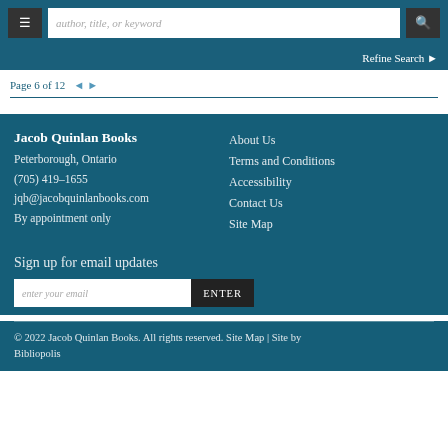author, title, or keyword [search bar] | Refine Search
Page 6 of 12
Jacob Quinlan Books
Peterborough, Ontario
(705) 419-1655
jqb@jacobquinlanbooks.com
By appointment only
About Us
Terms and Conditions
Accessibility
Contact Us
Site Map
Sign up for email updates
enter your email | ENTER
© 2022 Jacob Quinlan Books. All rights reserved. Site Map | Site by Bibliopolis